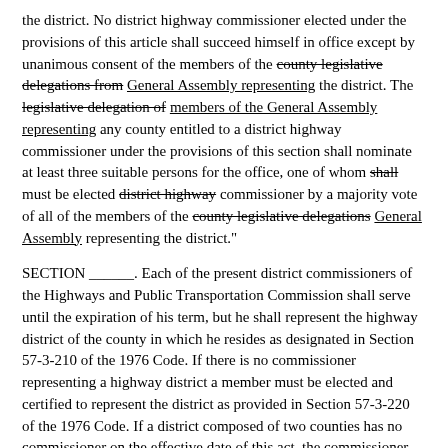the district. No district highway commissioner elected under the provisions of this article shall succeed himself in office except by unanimous consent of the members of the [strikethrough: county legislative delegations from] [underline: General Assembly representing] the district. The [strikethrough: legislative delegation of] [underline: members of the General Assembly representing] any county entitled to a district highway commissioner under the provisions of this section shall nominate at least three suitable persons for the office, one of whom [strikethrough: shall] must be elected [strikethrough: district highway] commissioner by a majority vote of all of the members of the [strikethrough: county legislative delegations] [underline: General Assembly] representing the district."
SECTION ______. Each of the present district commissioners of the Highways and Public Transportation Commission shall serve until the expiration of his term, but he shall represent the highway district of the county in which he resides as designated in Section 57-3-210 of the 1976 Code. If there is no commissioner representing a highway district a member must be elected and certified to represent the district as provided in Section 57-3-220 of the 1976 Code. If a district composed of two counties has no commissioner on the effective date of this act, the commissioner must be elected from the county which has the larger population according to the latest official United States Census. If a district is represented by a commissioner from each county on the effective date of this act, only one commissioner may be elected to succeed the and be one of the present district commissioners.